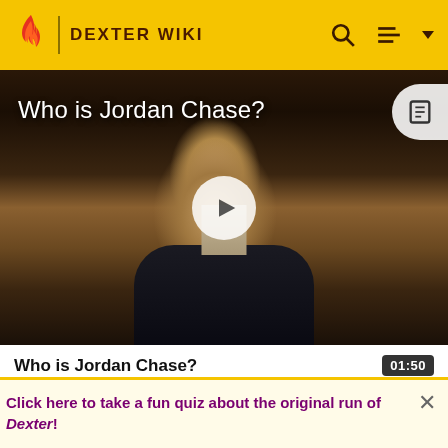DEXTER WIKI
[Figure (screenshot): Video thumbnail showing a man in a suit with text overlay 'Who is Jordan Chase?' and a play button in the center. Part of Dexter Wiki website.]
Who is Jordan Chase?
01:50
Jordan instead strikes Emily twice with the poker, which
Click here to take a fun quiz about the original run of Dexter!